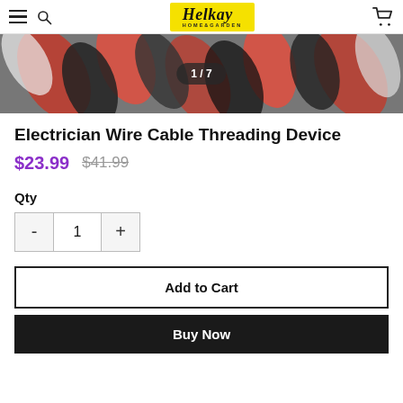Helkay HOME&GARDEN
[Figure (photo): Close-up photo of red, black, and white electrical wires/cables with image counter showing 1/7]
Electrician Wire Cable Threading Device
$23.99  $41.99
Qty
- 1 +
Add to Cart
Buy Now